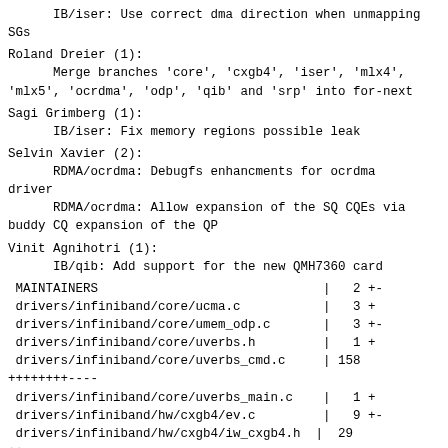IB/iser: Use correct dma direction when unmapping
SGs
Roland Dreier (1):
      Merge branches 'core', 'cxgb4', 'iser', 'mlx4',
'mlx5', 'ocrdma', 'odp', 'qib' and 'srp' into for-next
Sagi Grimberg (1):
      IB/iser: Fix memory regions possible leak
Selvin Xavier (2):
      RDMA/ocrdma: Debugfs enhancments for ocrdma
driver
      RDMA/ocrdma: Allow expansion of the SQ CQEs via
buddy CQ expansion of the QP
Vinit Agnihotri (1):
      IB/qib: Add support for the new QMH7360 card
MAINTAINERS                              |   2 +-
 drivers/infiniband/core/ucma.c           |   3 +
 drivers/infiniband/core/umem_odp.c       |   3 +-
 drivers/infiniband/core/uverbs.h         |   1 +
 drivers/infiniband/core/uverbs_cmd.c     | 158
++++++++----
 drivers/infiniband/core/uverbs_main.c    |   1 +
 drivers/infiniband/hw/cxgb4/ev.c         |   9 +-
 drivers/infiniband/hw/cxgb4/iw_cxgb4.h  |  29
++-
 drivers/infiniband/hw/ipath/ipath_kernel.h  |   3 +